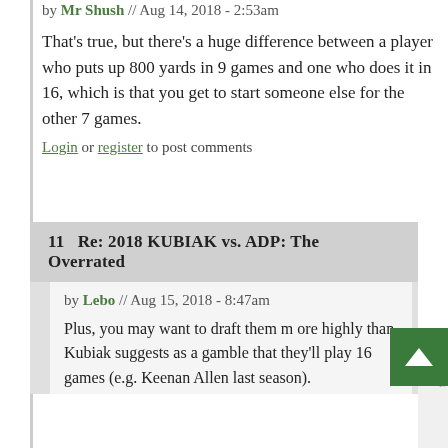by Mr Shush // Aug 14, 2018 - 2:53am
That's true, but there's a huge difference between a player who puts up 800 yards in 9 games and one who does it in 16, which is that you get to start someone else for the other 7 games.
Login or register to post comments
11   Re: 2018 KUBIAK vs. ADP: The Overrated
by Lebo // Aug 15, 2018 - 8:47am
Plus, you may want to draft them more highly than Kubiak suggests as a gamble that they'll play 16 games (e.g. Keenan Allen last season).